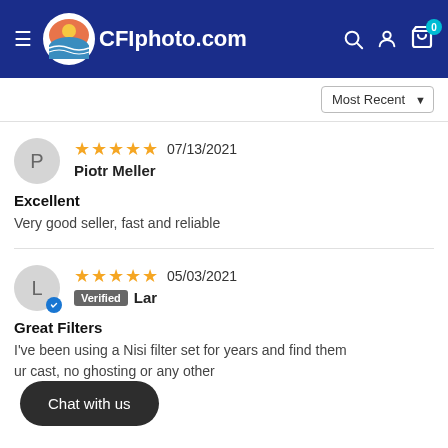[Figure (logo): CFIphoto.com website header with logo (sunset/ocean circle icon), navigation hamburger menu, and icons for search, user, and cart with badge showing 0]
Most Recent ▼
★★★★★ 07/13/2021
Piotr Meller
Excellent
Very good seller, fast and reliable
★★★★★ 05/03/2021
Verified Lar
Great Filters
I've been using a Nisi filter set for years and find them ur cast, no ghosting or any other
Chat with us